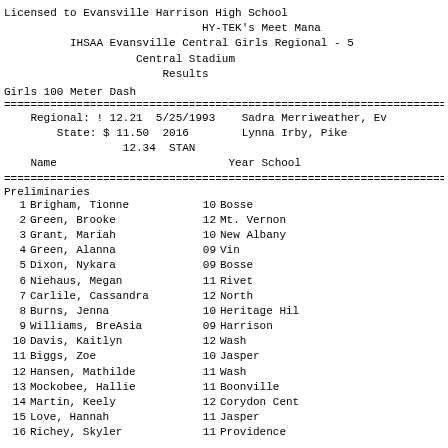Licensed to Evansville Harrison High School
                              HY-TEK's Meet Mana
          IHSAA Evansville Central Girls Regional - 5
                    Central Stadium
                        Results
Girls 100 Meter Dash
Regional: ! 12.21  5/25/1993    Sadra Merriweather, Ev
    State: $ 11.50  2016        Lynna Irby, Pike
              12.34  STAN
Name                          Year School
Preliminaries
| # | Name | Year | School | Time |
| --- | --- | --- | --- | --- |
| 1 | Brigham, Tionne | 10 | Bosse |  |
| 2 | Green, Brooke | 12 | Mt. Vernon |  |
| 3 | Grant, Mariah | 10 | New Albany |  |
| 4 | Green, Alanna | 09 | Vin |  |
| 5 | Dixon, Nykara | 09 | Bosse |  |
| 6 | Niehaus, Megan | 11 | Rivet |  |
| 7 | Carlile, Cassandra | 12 | North |  |
| 8 | Burns, Jenna | 10 | Heritage Hil |  |
| 9 | Williams, BreAsia | 09 | Harrison |  |
| 10 | Davis, Kaitlyn | 12 | Wash |  |
| 11 | Biggs, Zoe | 10 | Jasper |  |
| 12 | Hansen, Mathilde | 11 | Wash |  |
| 13 | Mockobee, Hallie | 11 | Boonville |  |
| 14 | Martin, Keely | 12 | Corydon Cent |  |
| 15 | Love, Hannah | 11 | Jasper |  |
| 16 | Richey, Skyler | 11 | Providence |  |